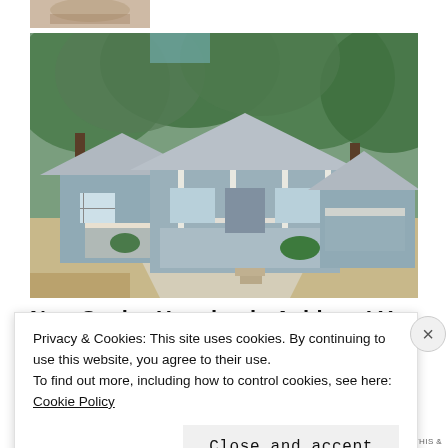[Figure (photo): Partial top thumbnail image, appears to be a small cropped photo]
[Figure (photo): Photograph of small senior housing cottages with white porches, surrounded by large trees, with a concrete driveway. Light blue/grey siding homes in a community setting.]
New Senior Housing in Ashburn! You Have to
Privacy & Cookies: This site uses cookies. By continuing to use this website, you agree to their use.
To find out more, including how to control cookies, see here: Cookie Policy
Close and accept